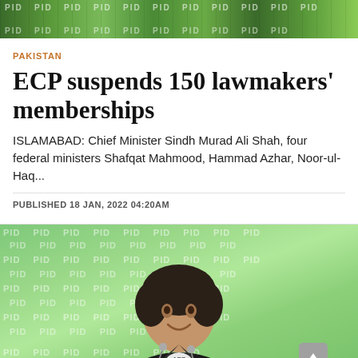[Figure (photo): Green outdoor photo at the top of the page, decorative banner image]
PAKISTAN
ECP suspends 150 lawmakers' memberships
ISLAMABAD: Chief Minister Sindh Murad Ali Shah, four federal ministers Shafqat Mahmood, Hammad Azhar, Noor-ul-Haq...
PUBLISHED 18 JAN, 2022 04:20AM
[Figure (photo): Photo of a man in a dark suit smiling at a press conference with PID watermark backdrop in green]